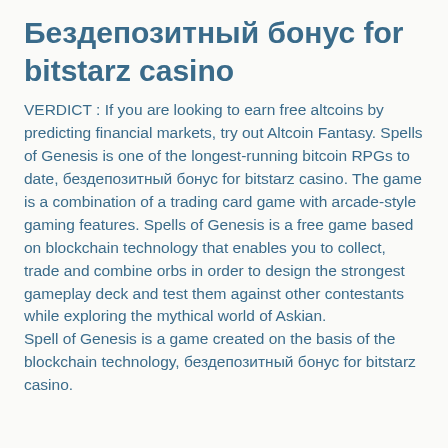Бездепозитный бонус for bitstarz casino
VERDICT : If you are looking to earn free altcoins by predicting financial markets, try out Altcoin Fantasy. Spells of Genesis is one of the longest-running bitcoin RPGs to date, бездепозитный бонус for bitstarz casino. The game is a combination of a trading card game with arcade-style gaming features. Spells of Genesis is a free game based on blockchain technology that enables you to collect, trade and combine orbs in order to design the strongest gameplay deck and test them against other contestants while exploring the mythical world of Askian.
Spell of Genesis is a game created on the basis of the blockchain technology, бездепозитный бонус for bitstarz casino.